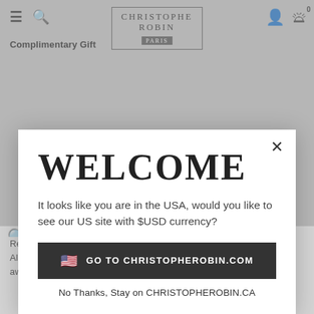Christophe Robin Paris — navigation header with hamburger, search, logo, account, and cart icons. Complimentary Gift
WELCOME
It looks like you are in the USA, would you like to see our US site with $USD currency?
🇺🇸  GO TO CHRISTOPHEROBIN.COM
No Thanks, Stay on CHRISTOPHEROBIN.CA
Receive a complimentary Christophe Robin Hydrating Melt Mask with Aloe Vera 75ml when you spend $90. *Complimentary gift will be awarded at checkout. Apples after discount